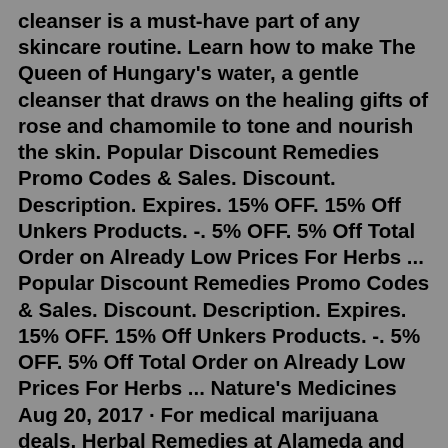cleanser is a must-have part of any skincare routine. Learn how to make The Queen of Hungary's water, a gentle cleanser that draws on the healing gifts of rose and chamomile to tone and nourish the skin. Popular Discount Remedies Promo Codes & Sales. Discount. Description. Expires. 15% OFF. 15% Off Unkers Products. -. 5% OFF. 5% Off Total Order on Already Low Prices For Herbs ... Popular Discount Remedies Promo Codes & Sales. Discount. Description. Expires. 15% OFF. 15% Off Unkers Products. -. 5% OFF. 5% Off Total Order on Already Low Prices For Herbs ... Nature's Medicines Aug 20, 2017 · For medical marijuana deals, Herbal Remedies at Alameda and Sheridan has some of the lowest marijuana prices in Lakewood with select strains selling for $100 an ounce, $15 an eighth, or $5 a gram. You'll also find great weed deals and ounce specials at Levels medical dispensary. This Lakewood medical marijuana dispensary at 389 Wadsworth Blvd ... View coupons, specials, reviews, menu, contact info & more for